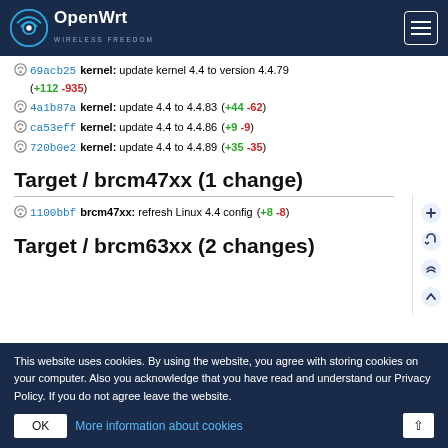OpenWrt
69acb25 kernel: update kernel 4.4 to version 4.4.79 (+112 -935)
4a1b87a kernel: update 4.4 to 4.4.83 (+44 -62)
ca53eff kernel: update 4.4 to 4.4.86 (+9 -9)
720b0e2 kernel: update 4.4 to 4.4.89 (+35 -35)
Target / brcm47xx (1 change)
1100bbf brcm47xx: refresh Linux 4.4 config (+8 -8)
Target / brcm63xx (2 changes)
This website uses cookies. By using the website, you agree with storing cookies on your computer. Also you acknowledge that you have read and understand our Privacy Policy. If you do not agree leave the website.